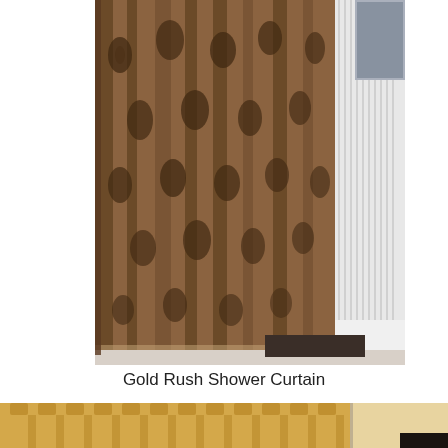[Figure (photo): A brown damask-patterned shower curtain hanging in a bathroom, with white beadboard wainscoting on the right side and a dark bath mat visible on the floor.]
Gold Rush Shower Curtain
[Figure (photo): A gold/cream colored shower curtain with button-hole tabs along the top rod, showing the curtain against a light beige wall with a partial view of a dark object at bottom right.]